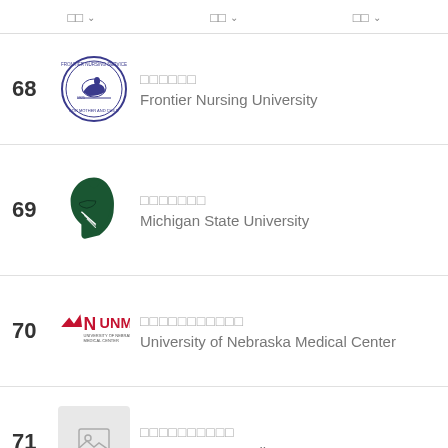□□ ∨   □□ ∨   □□ ∨
68 □□□□□□ Frontier Nursing University
69 □□□□□□□ Michigan State University
70 □□□□□□□□□□□ University of Nebraska Medical Center
71 □□□□□□□□□□ CUNY--Hunter College
72 □□□□